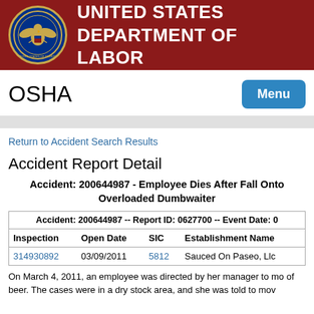UNITED STATES DEPARTMENT OF LABOR
OSHA
Return to Accident Search Results
Accident Report Detail
Accident: 200644987 - Employee Dies After Fall Onto Overloaded Dumbwaiter
| Accident: 200644987 -- Report ID: 0627700 -- Event Date: 0 | Inspection | Open Date | SIC | Establishment Name |
| --- | --- | --- | --- | --- |
| 314930892 | 03/09/2011 | 5812 | Sauced On Paseo, Llc |
On March 4, 2011, an employee was directed by her manager to mo of beer. The cases were in a dry stock area, and she was told to mov